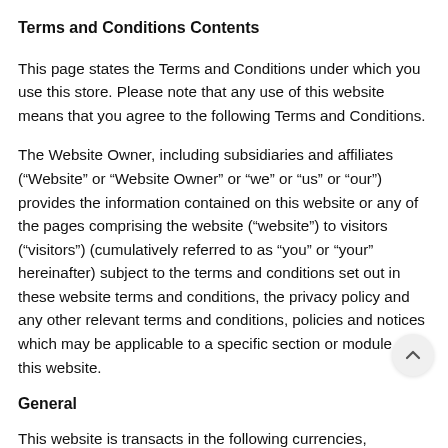Terms and Conditions Contents
This page states the Terms and Conditions under which you use this store. Please note that any use of this website means that you agree to the following Terms and Conditions.
The Website Owner, including subsidiaries and affiliates (“Website” or “Website Owner” or “we” or “us” or “our”) provides the information contained on this website or any of the pages comprising the website (“website”) to visitors (“visitors”) (cumulatively referred to as “you” or “your” hereinafter) subject to the terms and conditions set out in these website terms and conditions, the privacy policy and any other relevant terms and conditions, policies and notices which may be applicable to a specific section or module of this website.
General
This website is transacts in the following currencies, dependent on